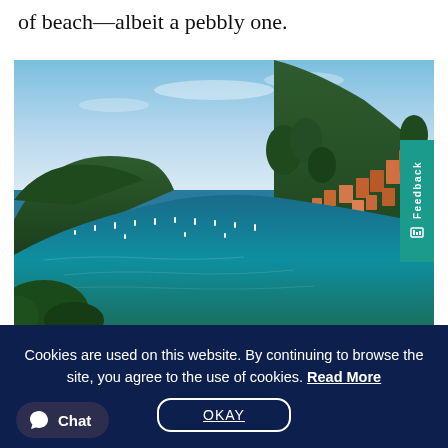of beach—albeit a pebbly one.
[Figure (photo): Aerial view of a Mediterranean coastal town with turquoise-blue bay, sailboats anchored in the harbor, hillside with orange-roofed buildings and green trees, clear sunny sky.]
Cookies are used on this website. By continuing to browse the site, you agree to the use of cookies. Read More
OKAY
Chat